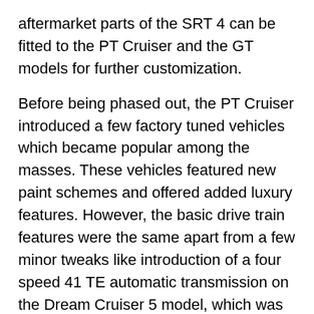aftermarket parts of the SRT 4 can be fitted to the PT Cruiser and the GT models for further customization.
Before being phased out, the PT Cruiser introduced a few factory tuned vehicles which became popular among the masses. These vehicles featured new paint schemes and offered added luxury features. However, the basic drive train features were the same apart from a few minor tweaks like introduction of a four speed 41 TE automatic transmission on the Dream Cruiser 5 model, which was introduced in late 2005 and was continued till 2010.
[video_lightbox_youtube video_id="hoxqtnl4l4c" width="640" height="480" auto_thumb="1"]
Used Auto Parts Locator is your best bet online when it comes to locating Chrysler PT